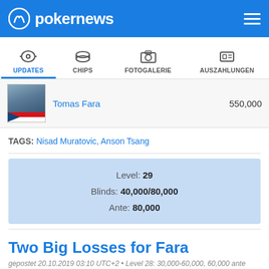pokernews
UPDATES | CHIPS | FOTOGALERIE | AUSZAHLUNGEN
| Player | Chips |
| --- | --- |
| Tomas Fara | 550,000 |
TAGS: Nisad Muratovic, Anson Tsang
Level: 29 Blinds: 40,000/80,000 Ante: 80,000
Two Big Losses for Fara
gepostet 20.10.2019 03:10 UTC+2 • Level 28: 30,000-60,000, 60,000 ante
TEILEN